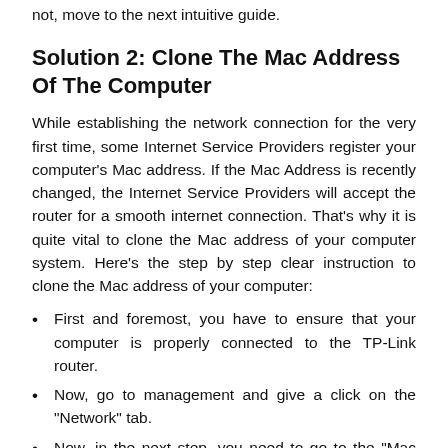not, move to the next intuitive guide.
Solution 2: Clone The Mac Address Of The Computer
While establishing the network connection for the very first time, some Internet Service Providers register your computer’s Mac address. If the Mac Address is recently changed, the Internet Service Providers will accept the router for a smooth internet connection. That’s why it is quite vital to clone the Mac address of your computer system. Here’s the step by step clear instruction to clone the Mac address of your computer:
First and foremost, you have to ensure that your computer is properly connected to the TP-Link router.
Now, go to management and give a click on the “Network” tab.
Now, in the next step, you need to go to the “Mac Clone” option, which is listed on the left